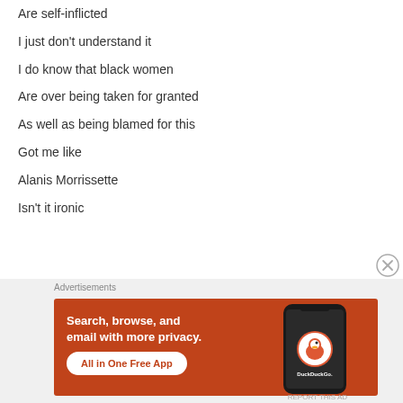Are self-inflicted
I just don’t understand it
I do know that black women
Are over being taken for granted
As well as being blamed for this
Got me like
Alanis Morrissette
Isn’t it ironic
[Figure (infographic): DuckDuckGo advertisement banner with orange background. Text: Search, browse, and email with more privacy. All in One Free App. Shows a phone graphic with DuckDuckGo logo.]